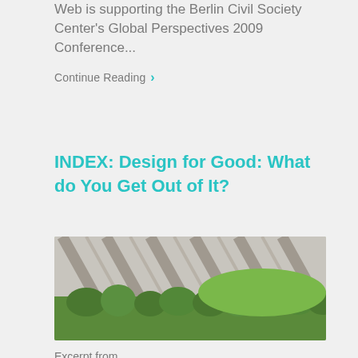Web is supporting the Berlin Civil Society Center's Global Perspectives 2009 Conference...
Continue Reading ›
INDEX: Design for Good: What do You Get Out of It?
[Figure (photo): Aerial or angled view of a large concrete dam structure with green trees/forest below]
Excerpt from...